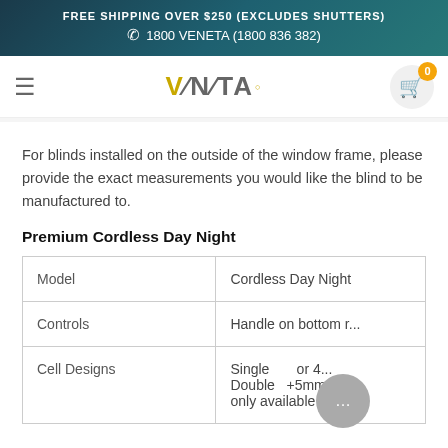FREE SHIPPING OVER $250 (EXCLUDES SHUTTERS)
1800 VENETA (1800 836 382)
[Figure (logo): VENETA logo with yellow V and navigation bar with hamburger menu and shopping cart]
For blinds installed on the outside of the window frame, please provide the exact measurements you would like the blind to be manufactured to.
Premium Cordless Day Night
| Model | Cordless Day Night |
| --- | --- |
| Controls | Handle on bottom r... |
| Cell Designs | Single ... or 4... Double ...+5mm... only available in si... |